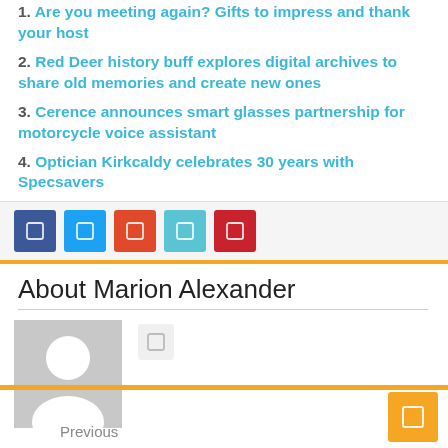1. Are you meeting again? Gifts to impress and thank your host
2. Red Deer history buff explores digital archives to share old memories and create new ones
3. Cerence announces smart glasses partnership for motorcycle voice assistant
4. Optician Kirkcaldy celebrates 30 years with Specsavers
[Figure (other): Social share buttons: Facebook, Twitter, Google+, LinkedIn, Pinterest]
About Marion Alexander
[Figure (other): Author profile photo placeholder (gray silhouette) with social media button]